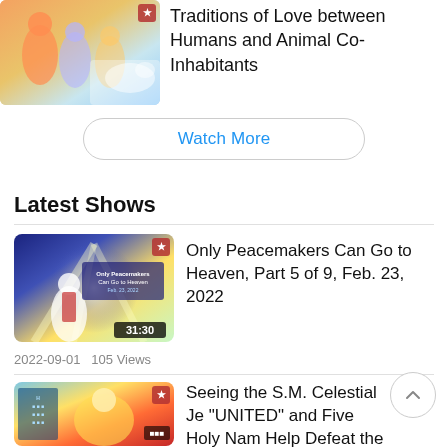[Figure (photo): Thumbnail image of people with animals, with a small icon in corner]
Traditions of Love between Humans and Animal Co-Inhabitants
Watch More
Latest Shows
[Figure (screenshot): Video thumbnail showing a preacher on stage with blue/yellow lighting and text overlay, duration 31:30]
Only Peacemakers Can Go to Heaven, Part 5 of 9, Feb. 23, 2022
2022-09-01   105 Views
[Figure (photo): Video thumbnail with colorful spiritual/celestial imagery]
Seeing the S.M. Celestial Je "UNITED" and Five Holy Nam Help Defeat the Devil